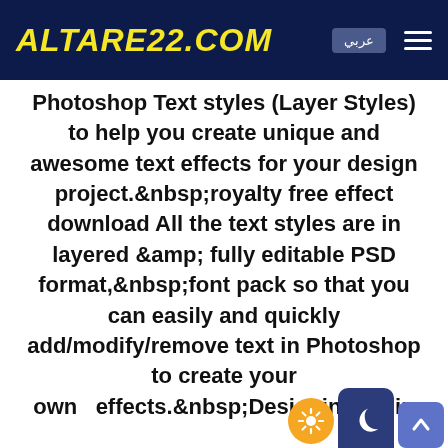ALTARE22.COM عربي
Photoshop Text styles (Layer Styles) to help you create unique and awesome text effects for your design project.&nbsp;royalty free effect download All the text styles are in layered &amp; fully editable PSD format,&nbsp;font pack so that you can easily and quickly add/modify/remove text in Photoshop to create your own effects.&nbsp;Designing 3D in